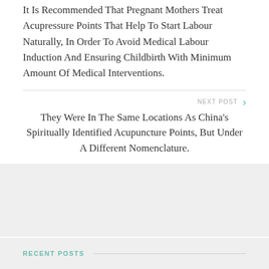It Is Recommended That Pregnant Mothers Treat Acupressure Points That Help To Start Labour Naturally, In Order To Avoid Medical Labour Induction And Ensuring Childbirth With Minimum Amount Of Medical Interventions.
NEXT POST
They Were In The Same Locations As China's Spiritually Identified Acupuncture Points, But Under A Different Nomenclature.
RECENT POSTS